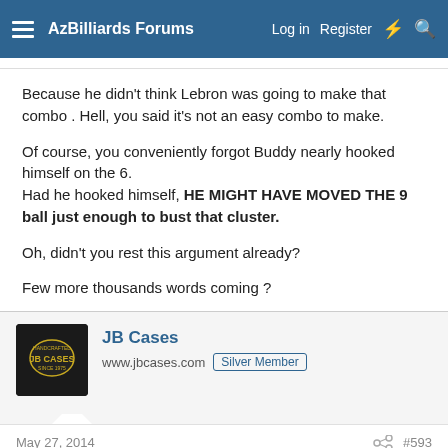AzBilliards Forums | Log in | Register
Because he didn't think Lebron was going to make that combo . Hell, you said it's not an easy combo to make.
Of course, you conveniently forgot Buddy nearly hooked himself on the 6.
Had he hooked himself, HE MIGHT HAVE MOVED THE 9 ball just enough to bust that cluster.
Oh, didn't you rest this argument already?
Few more thousands words coming ?
JB Cases
www.jbcases.com  Silver Member
May 27, 2014  #593